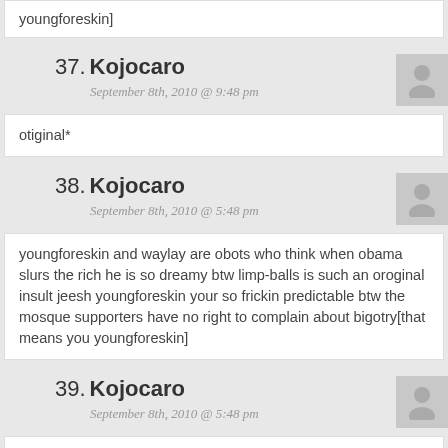youngforeskin]
37. Kojocaro
September 8th, 2010 @ 9:48 pm
otiginal*
38. Kojocaro
September 8th, 2010 @ 5:48 pm
youngforeskin and waylay are obots who think when obama slurs the rich he is so dreamy btw limp-balls is such an oroginal insult jeesh youngforeskin your so frickin predictable btw the mosque supporters have no right to complain about bigotry[that means you youngforeskin]
39. Kojocaro
September 8th, 2010 @ 5:48 pm
otiginal*